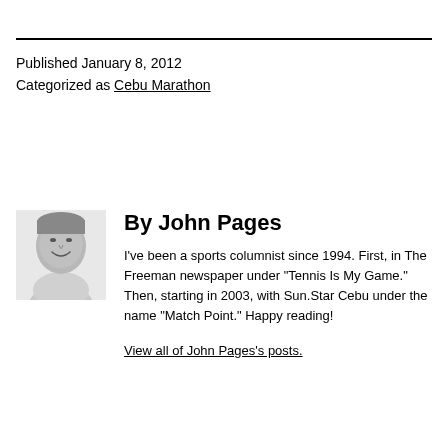Published January 8, 2012
Categorized as Cebu Marathon
[Figure (photo): Black and white headshot photo of John Pages, a man smiling, wearing a light colored shirt]
By John Pages
I've been a sports columnist since 1994. First, in The Freeman newspaper under "Tennis Is My Game." Then, starting in 2003, with Sun.Star Cebu under the name "Match Point." Happy reading!
View all of John Pages's posts.